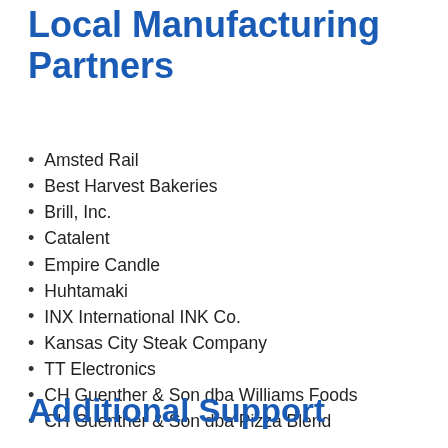Local Manufacturing Partners
Amsted Rail
Best Harvest Bakeries
Brill, Inc.
Catalent
Empire Candle
Huhtamaki
INX International INK Co.
Kansas City Steak Company
TT Electronics
CH Guenther & Son dba Williams Foods
CH Guenther & Son dba Pizza Blend
Additional Support